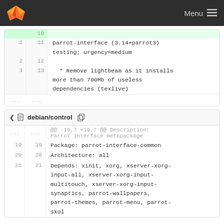GitLab — Menu
[Figure (screenshot): Code diff panel showing debian/changelog with lines 1-3 / 11-13, adding parrot-interface (3.14+parrot3) testing; urgency=medium and removing lightbeam]
debian/control
[Figure (screenshot): Code diff panel showing debian/control lines 19-21 with Package, Architecture, Depends fields]